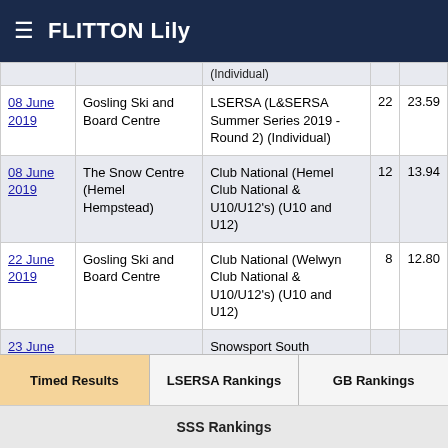FLITTON Lily
| Date | Venue | Event |  |  |
| --- | --- | --- | --- | --- |
| 08 June 2019 | Gosling Ski and Board Centre | LSERSA (L&SERSA Summer Series 2019 - Round 2) (Individual) | 22 | 23.59 |
| 08 June 2019 | The Snow Centre (Hemel Hempstead) | Club National (Hemel Club National & U10/U12's) (U10 and U12) | 12 | 13.94 |
| 22 June 2019 | Gosling Ski and Board Centre | Club National (Welwyn Club National & U10/U12's) (U10 and U12) | 8 | 12.80 |
| 23 June |  | Snowsport South (Snowsport South ... |  |  |
Timed Results | LSERSA Rankings | GB Rankings
SSS Rankings